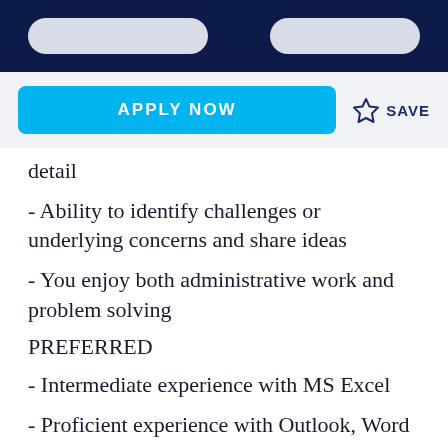[navigation bar with two pill buttons]
APPLY NOW   ☆ SAVE
detail
- Ability to identify challenges or underlying concerns and share ideas
- You enjoy both administrative work and problem solving
PREFERRED
- Intermediate experience with MS Excel
- Proficient experience with Outlook, Word & P...